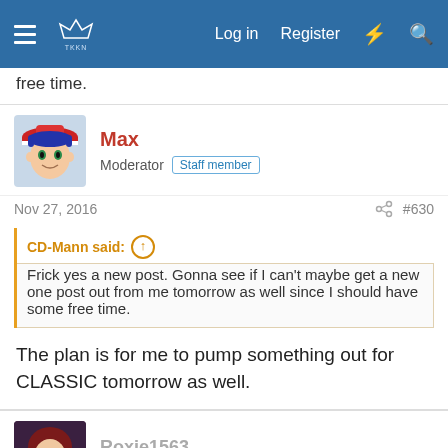Log in  Register
free time.
Max
Moderator  Staff member
Nov 27, 2016  #630
CD-Mann said: ↑
Frick yes a new post. Gonna see if I can't maybe get a new one post out from me tomorrow as well since I should have some free time.
The plan is for me to pump something out for CLASSIC tomorrow as well.
Roxie1563
Actress/Healer in Persona: Icebound